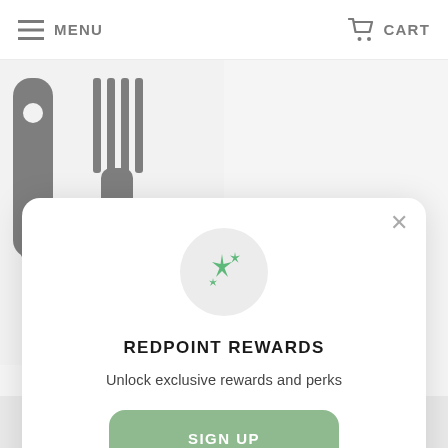MENU   CART
[Figure (photo): Product photo showing two dark-colored kitchen/grilling tools: a spatula-like tool with a hole in the handle on the left, and a large fork with three tines on the right, against a light gray background.]
[Figure (screenshot): Redpoint Rewards modal popup overlay on a retail website. Contains a circular icon with sparkle/star symbols in green, the heading REDPOINT REWARDS, subtitle text, a green SIGN UP button, and a Sign in link.]
REDPOINT REWARDS
Unlock exclusive rewards and perks
SIGN UP
Already have an account? Sign in